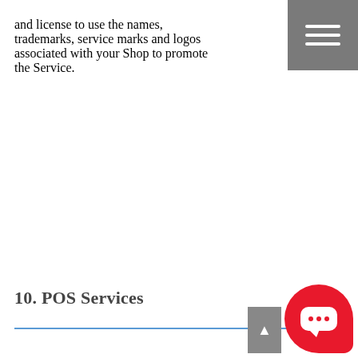and license to use the names, trademarks, service marks and logos associated with your Shop to promote the Service.
10. POS Services